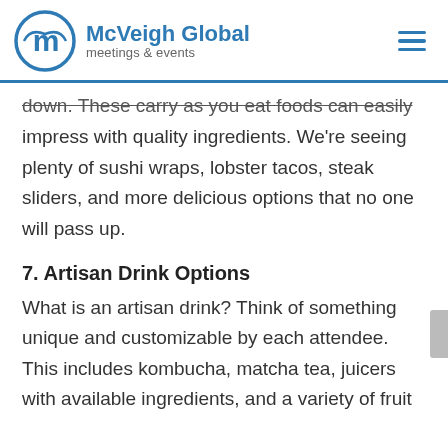McVeigh Global meetings & events
down. These carry as you eat foods can easily impress with quality ingredients. We're seeing plenty of sushi wraps, lobster tacos, steak sliders, and more delicious options that no one will pass up.
7. Artisan Drink Options
What is an artisan drink? Think of something unique and customizable by each attendee. This includes kombucha, matcha tea, juicers with available ingredients, and a variety of fruit